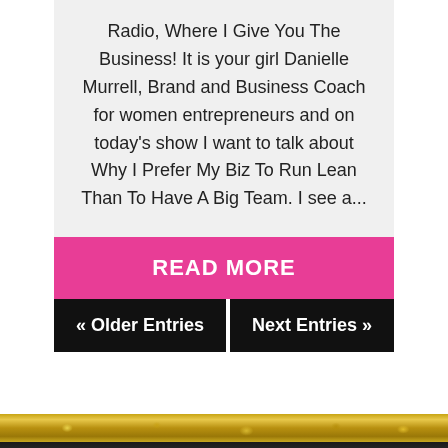Radio, Where I Give You The Business! It is your girl Danielle Murrell, Brand and Business Coach for women entrepreneurs and on today's show I want to talk about Why I Prefer My Biz To Run Lean Than To Have A Big Team. I see a...
READ MORE
« Older Entries
Next Entries »
[Figure (photo): Decorative footer banner with gold glitter stripe, dark black stripe, and gray textured marble stripe]
Legal Disclaimer: Every effort has been made to